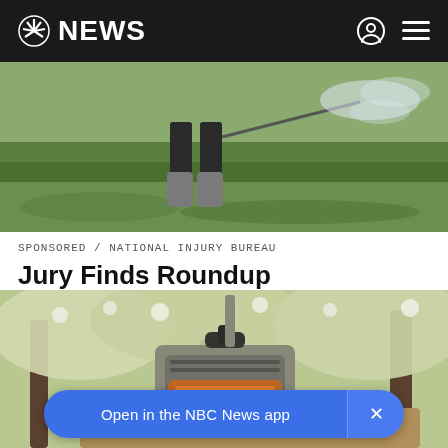NBC NEWS
[Figure (photo): Person in rubber boots spraying pesticide/herbicide on a green agricultural field, shot from behind, mist visible]
SPONSORED / NATIONAL INJURY BUREAU
Jury Finds Roundup Responsible For Lymphoma | Bayer To Pay $10 Billion
[Figure (photo): Outdoor pizza oven appliance on a table with trees with white blossoms in the background]
Open in the NBC News app